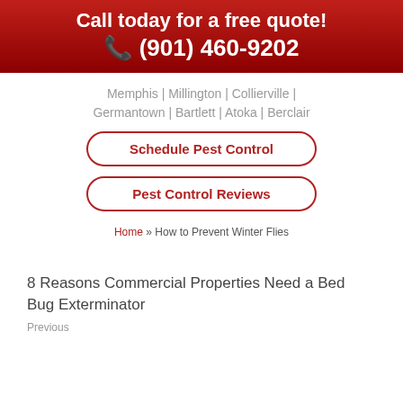Call today for a free quote! 📞 (901) 460-9202
Memphis | Millington | Collierville | Germantown | Bartlett | Atoka | Berclair
Schedule Pest Control
Pest Control Reviews
Home » How to Prevent Winter Flies
8 Reasons Commercial Properties Need a Bed Bug Exterminator
Previous